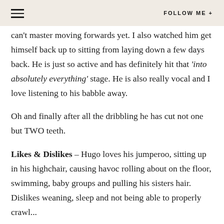FOLLOW ME +
can't master moving forwards yet. I also watched him get himself back up to sitting from laying down a few days back. He is just so active and has definitely hit that 'into absolutely everything' stage. He is also really vocal and I love listening to his babble away.
Oh and finally after all the dribbling he has cut not one but TWO teeth.
Likes & Dislikes – Hugo loves his jumperoo, sitting up in his highchair, causing havoc rolling about on the floor, swimming, baby groups and pulling his sisters hair. Dislikes weaning, sleep and not being able to properly crawl...
What we've been up to – Since Hugo's five month update we